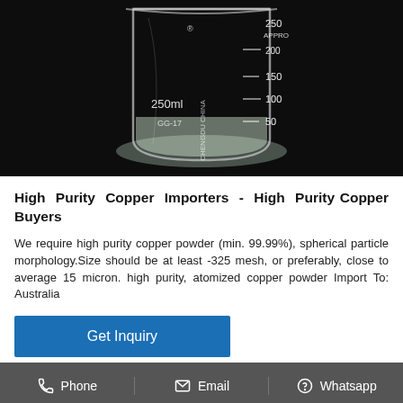[Figure (photo): A 250ml glass beaker/laboratory flask containing a clear liquid, photographed against a dark/black background. White measurement markings visible at 50, 100, 150, 200, 250 ml. Text on beaker reads '250ml', 'GG-17', 'CHENGDU CHINA' and features a brand logo with registered trademark symbol.]
High Purity Copper Importers - High Purity Copper Buyers
We require high purity copper powder (min. 99.99%), spherical particle morphology.Size should be at least -325 mesh, or preferably, close to average 15 micron. high purity, atomized copper powder Import To: Australia
Get Inquiry